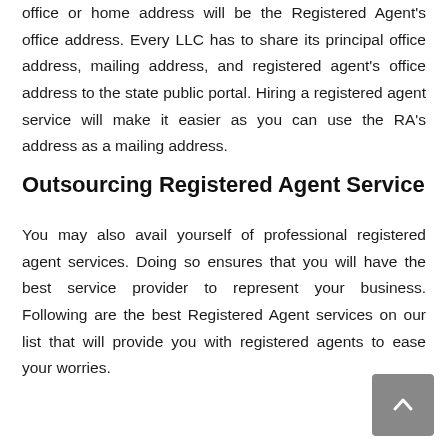office or home address will be the Registered Agent's office address. Every LLC has to share its principal office address, mailing address, and registered agent's office address to the state public portal. Hiring a registered agent service will make it easier as you can use the RA's address as a mailing address.
Outsourcing Registered Agent Service
You may also avail yourself of professional registered agent services. Doing so ensures that you will have the best service provider to represent your business. Following are the best Registered Agent services on our list that will provide you with registered agents to ease your worries.